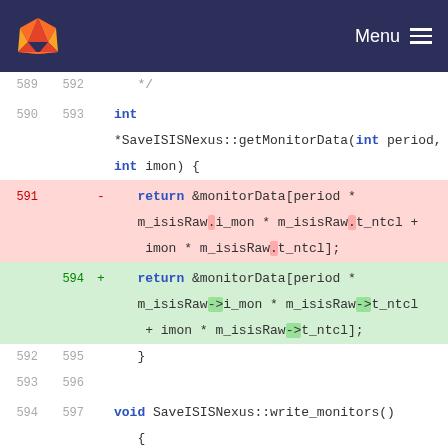GitLab — Menu
[Figure (screenshot): Code diff view showing changes to SaveISISNexus::getMonitorData and SaveISISNexus::write_monitors functions, with deleted lines (red background) and added lines (green background). Line numbers shown for both old and new versions.]